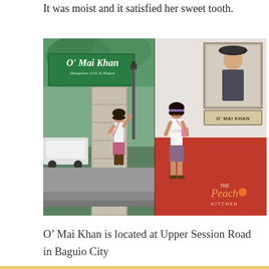It was moist and it satisfied her sweet tooth.
[Figure (photo): Two side-by-side photos at O' Mai Khan Mongolian Grill & Hotpot restaurant. Left photo shows a young girl posing outside under the restaurant's green sign on Upper Session Road, Baguio City. Right photo shows the same girl posing inside the restaurant in front of a red and white wall with a portrait painting and 'O MAI KHAN' name plaque. The Peach Kitchen watermark is visible on the image.]
O’ Mai Khan is located at Upper Session Road in Baguio City